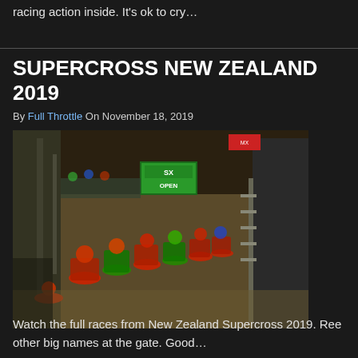racing action inside. It's ok to cry…
SUPERCROSS NEW ZEALAND 2019
By Full Throttle On November 18, 2019
[Figure (photo): Overhead view of motocross riders lined up at the starting gate at Supercross New Zealand 2019 event, inside an indoor arena with dirt track. Riders in red and green gear with motorcycles visible, gate displays 'SX OPEN' sign.]
Watch the full races from New Zealand Supercross 2019. Ree other big names at the gate. Good…